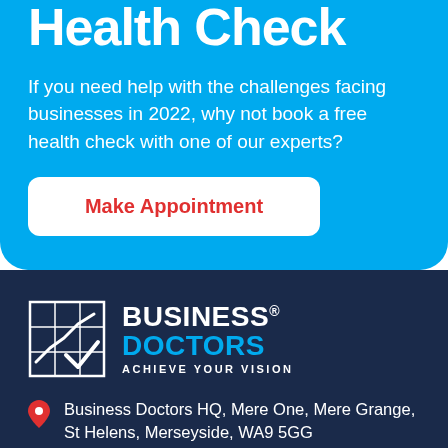Health Check
If you need help with the challenges facing businesses in 2022, why not book a free health check with one of our experts?
Make Appointment
[Figure (logo): Business Doctors logo with grid/chart icon and text 'BUSINESS DOCTORS ACHIEVE YOUR VISION']
Business Doctors HQ, Mere One, Mere Grange, St Helens, Merseyside, WA9 5GG